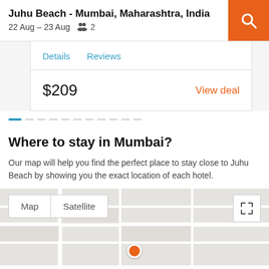Juhu Beach - Mumbai, Maharashtra, India
22 Aug - 23 Aug  2
Details    Reviews
$209    View deal
Where to stay in Mumbai?
Our map will help you find the perfect place to stay close to Juhu Beach by showing you the exact location of each hotel.
[Figure (map): Map showing Mumbai area with Map/Satellite toggle and expand button, orange location pin marker]